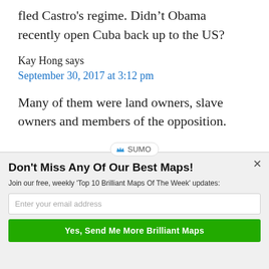fled Castro's regime. Didn't Obama recently open Cuba back up to the US?
Kay Hong says
September 30, 2017 at 3:12 pm
Many of them were land owners, slave owners and members of the opposition.
[Figure (logo): SUMO badge/watermark with crown icon]
Don't Miss Any Of Our Best Maps!
Join our free, weekly 'Top 10 Brilliant Maps Of The Week' updates:
Enter your email address
Yes, Send Me More Brilliant Maps